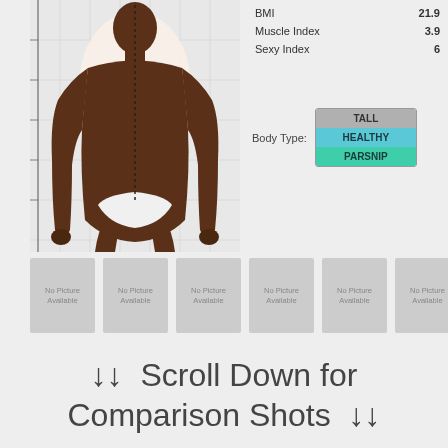[Figure (photo): Front-facing body photo of a male individual against a grid background, shirtless, with measurement markers]
| Metric | Value |
| --- | --- |
| BMI | 21.9 |
| Muscle Index | 3.9 |
| Sexy Index | 6 |
Body Type: TALL / HEALTHY / PARSNIP
[Figure (photo): No Picture Available placeholder thumbnail 1]
[Figure (photo): No Picture Available placeholder thumbnail 2]
[Figure (photo): No Picture Available placeholder thumbnail 3]
[Figure (photo): No Picture Available placeholder thumbnail 4]
[Figure (photo): No Picture Available placeholder thumbnail 5]
[Figure (photo): No Picture Available placeholder thumbnail 6]
↓↓  Scroll Down for Comparison Shots  ↓↓